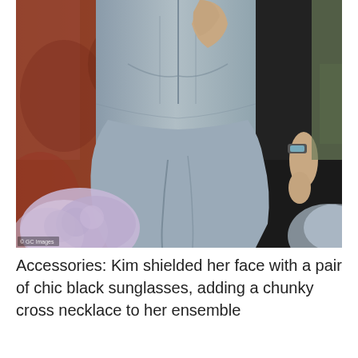[Figure (photo): A woman wearing a fitted grey jumpsuit/bodysuit walking outdoors, with a man in black clothing visible beside her. Purple hydrangea flowers are visible in the foreground blurred. Red rock/brick background. Getty CC Images watermark in bottom left.]
Accessories: Kim shielded her face with a pair of chic black sunglasses, adding a chunky cross necklace to her ensemble